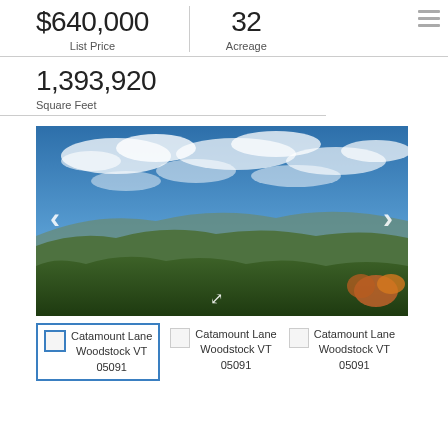$640,000 List Price
32 Acreage
1,393,920 Square Feet
[Figure (photo): Panoramic landscape photo showing a wide valley with rolling hills, forested terrain with autumn foliage, and a dramatic blue sky with white clouds. Navigation arrows visible on left and right sides.]
Catamount Lane Woodstock VT 05091
Catamount Lane Woodstock VT 05091
Catamount Lane Woodstock VT 05091